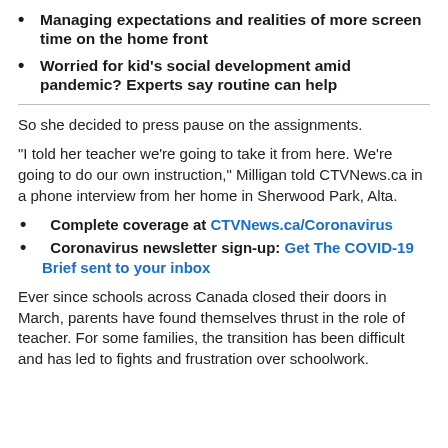Managing expectations and realities of more screen time on the home front
Worried for kid's social development amid pandemic? Experts say routine can help
So she decided to press pause on the assignments.
“I told her teacher we’re going to take it from here. We’re going to do our own instruction,” Milligan told CTVNews.ca in a phone interview from her home in Sherwood Park, Alta.
Complete coverage at CTVNews.ca/Coronavirus
Coronavirus newsletter sign-up: Get The COVID-19 Brief sent to your inbox
Ever since schools across Canada closed their doors in March, parents have found themselves thrust in the role of teacher. For some families, the transition has been difficult and has led to fights and frustration over schoolwork.